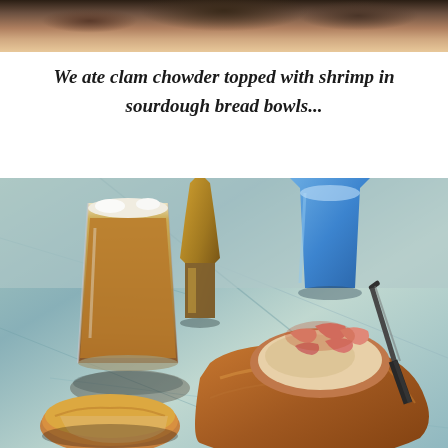[Figure (photo): Top portion of a photo showing food at a restaurant, partially cropped at the top of the page.]
We ate clam chowder topped with shrimp in sourdough bread bowls...
[Figure (photo): Photo of a sourdough bread bowl filled with clam chowder topped with shrimp, accompanied by a glass of beer and other drinks on a granite table outdoors.]